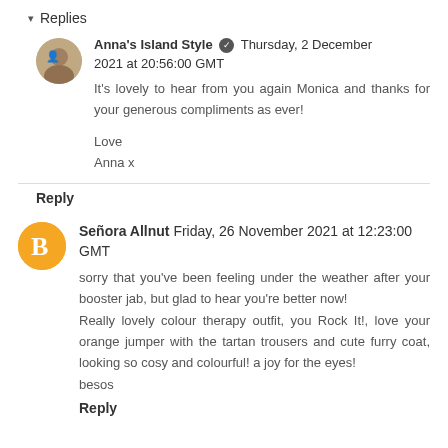▾ Replies
Anna's Island Style ✔ Thursday, 2 December 2021 at 20:56:00 GMT

It's lovely to hear from you again Monica and thanks for your generous compliments as ever!

Love
Anna x
Reply
Señora Allnut  Friday, 26 November 2021 at 12:23:00 GMT

sorry that you've been feeling under the weather after your booster jab, but glad to hear you're better now!
Really lovely colour therapy outfit, you Rock It!, love your orange jumper with the tartan trousers and cute furry coat, looking so cosy and colourful! a joy for the eyes!
besos
Reply